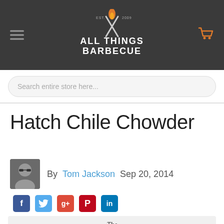All Things Barbecue — site navigation header with logo, hamburger menu, and cart icon
Search entire store here...
Hatch Chile Chowder
By Tom Jackson   Sep 20, 2014
[Figure (other): Social share icons: Facebook (blue), Twitter (light blue), Google+ (red), Pinterest (red), LinkedIn (blue)]
[Figure (logo): The Sauce — stylized logo text with orange spoon replacing the 'o' in SAUCE]